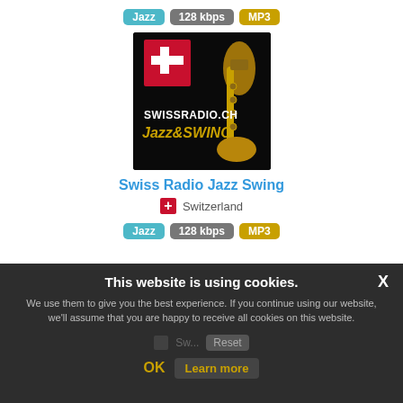Jazz  128 kbps  MP3
[Figure (photo): Swiss Radio Jazz Swing station logo: black background with Swiss flag (red with white cross) and gold saxophone, text SWISSRADIO.CH Jazz&Swing]
Swiss Radio Jazz Swing
🇨🇭 Switzerland
Jazz  128 kbps  MP3
This website is using cookies.
We use them to give you the best experience. If you continue using our website, we'll assume that you are happy to receive all cookies on this website.
OK  Learn more